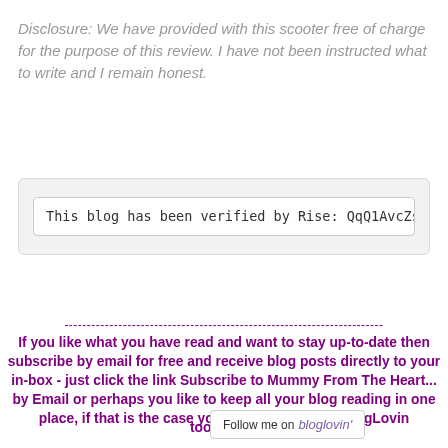Disclosure: We have provided with this scooter free of charge for the purpose of this review. I have not been instructed what to write and I remain honest.
This blog has been verified by Rise: QqQ1AvcZsGLZUa
------------------------------------------------------------------------------------------------------------------------
If you like what you have read and want to stay up-to-date then subscribe by email for free and receive blog posts directly to your in-box - just click the link Subscribe to Mummy From The Heart... by Email or perhaps you like to keep all your blog reading in one place, if that is the case you can follow me on BlogLovin too!
[Figure (other): Follow me on bloglovin' badge button]